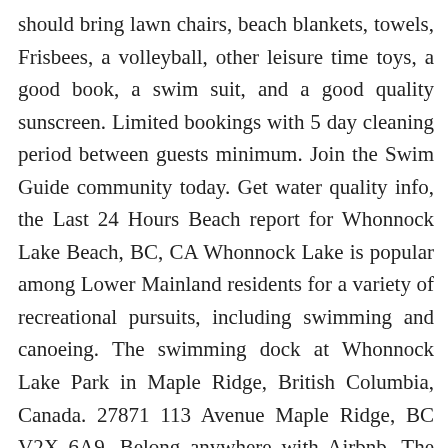should bring lawn chairs, beach blankets, towels, Frisbees, a volleyball, other leisure time toys, a good book, a swim suit, and a good quality sunscreen. Limited bookings with 5 day cleaning period between guests minimum. Join the Swim Guide community today. Get water quality info, the Last 24 Hours Beach report for Whonnock Lake Beach, BC, CA Whonnock Lake is popular among Lower Mainland residents for a variety of recreational pursuits, including swimming and canoeing. The swimming dock at Whonnock Lake Park in Maple Ridge, British Columbia, Canada. 27871 113 Avenue Maple Ridge, BC V2X 6A9. Belong anywhere with Airbnb. The swimming dock at Whonnock Lake Park in Maple Ridge, British Columbia, Canada. Hidden in Maple Ridge, Whonnock Lake is a great spot to spend the day! Whonnock lake rustic wedding venue